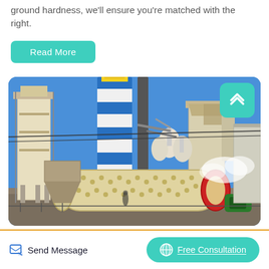ground hardness, we'll ensure you're matched with the right.
Read More
[Figure (photo): Industrial grinding/milling plant with a large horizontal ball mill in the foreground, blue and white cylindrical silo tower in the center, and various dust collection equipment and industrial structures under a clear blue sky.]
Send Message
Free Consultation